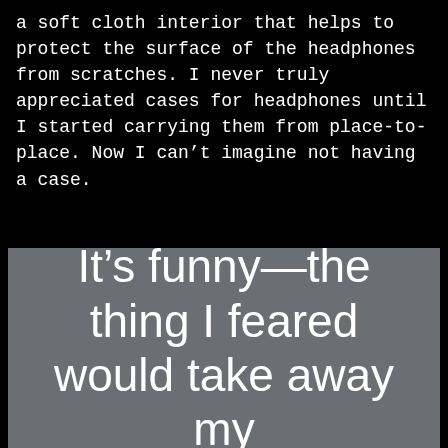a soft cloth interior that helps to protect the surface of the headphones from scratches. I never truly appreciated cases for headphones until I started carrying them from place-to-place. Now I can't imagine not having a case.
It’s funny—the thing I feared would take away my